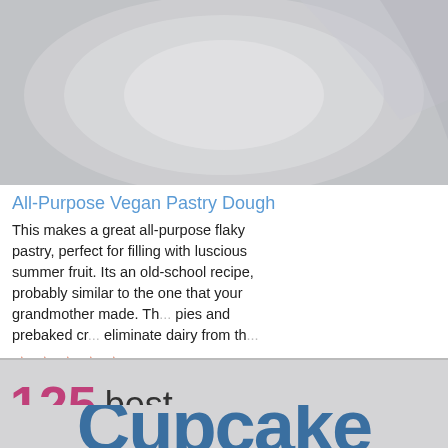[Figure (photo): Blurred photo of a white plate on a light gray background, top portion of a recipe website screenshot]
All-Purpose Vegan Pastry Dough
This makes a great all-purpose flaky pastry, perfect for filling with luscious summer fruit. Its an old-school recipe, probably similar to the one that your grandmother made. Th... (text continues) ...pies and prebaked cr... eliminate dairy from th...
[Figure (screenshot): Video overlay thumbnail showing a casserole dish with tater tots, with play button icon, mute icon, and text reading CHEESY TATER TOT CASSEROLE]
★★★★★
Cookbooks, etc
125 best Cupcake